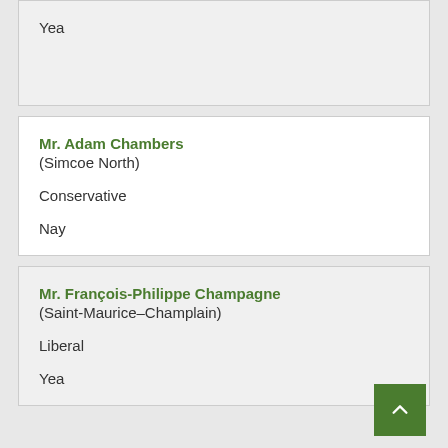Yea
Mr. Adam Chambers
(Simcoe North)
Conservative
Nay
Mr. François-Philippe Champagne
(Saint-Maurice–Champlain)
Liberal
Yea